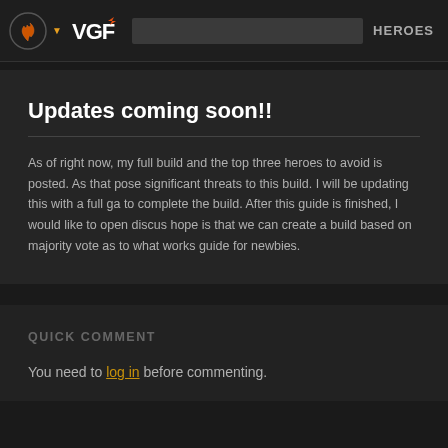VGF  HEROES
Updates coming soon!!
As of right now, my full build and the top three heroes to avoid is posted. As that pose significant threats to this build. I will be updating this with a full ga to complete the build. After this guide is finished, I would like to open discus hope is that we can create a build based on majority vote as to what works guide for newbies.
QUICK COMMENT
You need to log in before commenting.